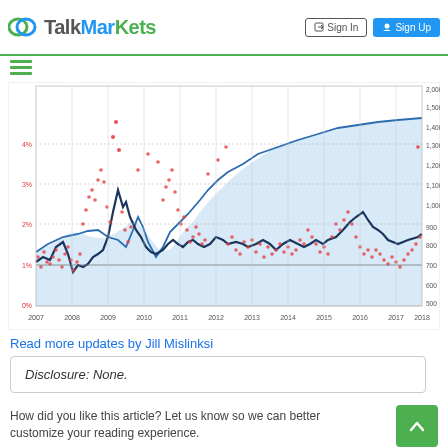TalkMarkets | Sign In | Sign Up
[Figure (continuous-plot): Time series chart from 2007 to 2018 showing scattered red dots and a blue line representing market volatility percentage (0%-4% on left axis) overlaid on S&P 500 index values (500-2000+ on right axis). The blue shaded area represents the index level. Notable spikes visible around 2008-2009 financial crisis and 2011-2012.]
Read more updates by Jill Mislinksi
Disclosure: None.
How did you like this article? Let us know so we can better customize your reading experience.